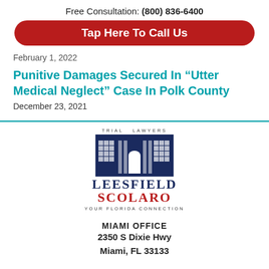Free Consultation: (800) 836-6400
[Figure (other): Red rounded button reading 'Tap Here To Call Us']
February 1, 2022
Punitive Damages Secured In “Utter Medical Neglect” Case In Polk County
December 23, 2021
[Figure (logo): Leesfield Scolaro Trial Lawyers logo with building illustration and tagline 'Your Florida Connection']
MIAMI OFFICE
2350 S Dixie Hwy
Miami, FL 33133